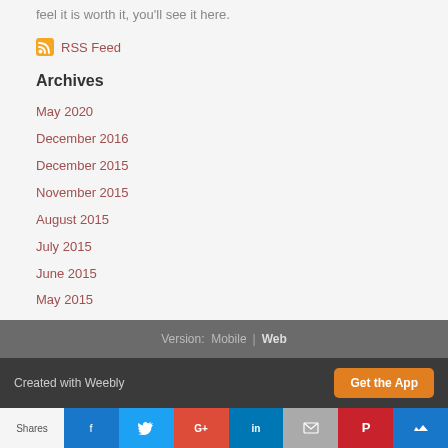feel it is worth it, you'll see it here.
RSS Feed
Archives
May 2020
December 2016
December 2015
November 2015
August 2015
July 2015
June 2015
May 2015
Version: Mobile | Web
Created with Weebly  Get the App
Shares  [social icons: Facebook, Twitter, Google+, LinkedIn, Email, Pinterest, other]